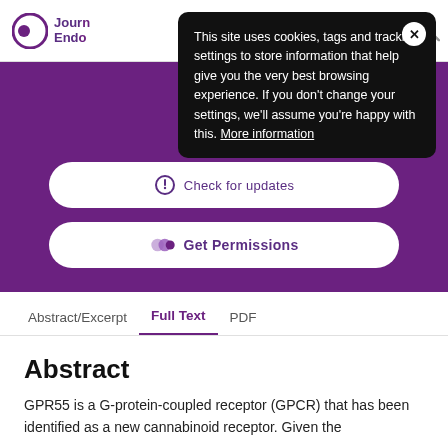Journal of Endocrinology — Society for Endocrinology
[Figure (screenshot): Cookie consent popup with dark background saying: This site uses cookies, tags and tracking settings to store information that help give you the very best browsing experience. If you don't change your settings, we'll assume you're happy with this. More information]
[Figure (screenshot): Purple action bar with 'Check for updates' and 'Get Permissions' buttons]
Abstract/Excerpt   Full Text   PDF
Abstract
GPR55 is a G-protein-coupled receptor (GPCR) that has been identified as a new cannabinoid receptor. Given the